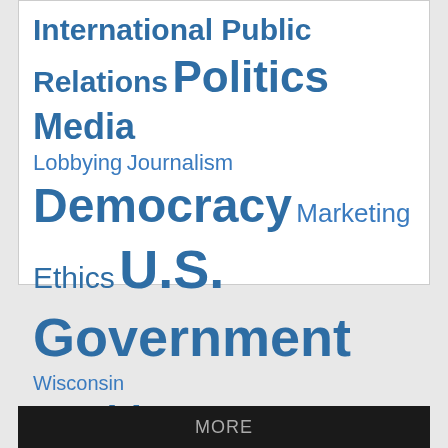[Figure (infographic): Tag cloud of topics including International Public Relations, Politics, Media, Lobbying, Journalism, Democracy, Marketing, Ethics, U.S. Government, Wisconsin, Health, Iraq, Human Rights, War / Peace, U.S. Congress — rendered in varying font sizes in blue, with a MORE link in red.]
MORE